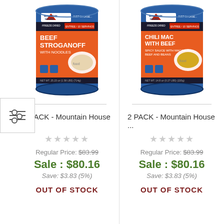[Figure (photo): Mountain House Beef Stroganoff With Noodles freeze-dried can, blue with orange label]
2 PACK - Mountain House ...
Regular Price: $83.99
Sale : $80.16
Save: $3.83 (5%)
OUT OF STOCK
[Figure (photo): Mountain House Chili Mac With Beef freeze-dried can, blue with orange label]
2 PACK - Mountain House ...
Regular Price: $83.99
Sale : $80.16
Save: $3.83 (5%)
OUT OF STOCK